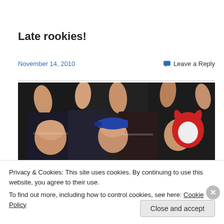Late rookies!
November 14, 2010   Leave a Reply
[Figure (photo): Group of sports fans with raised fists celebrating, one wearing a Red Bull cap, another holding a horned mascot costume]
Privacy & Cookies: This site uses cookies. By continuing to use this website, you agree to their use.
To find out more, including how to control cookies, see here: Cookie Policy
Close and accept